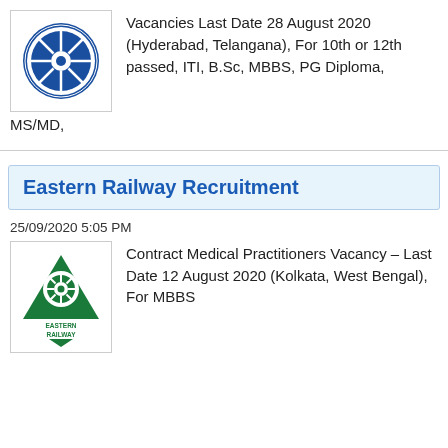[Figure (logo): Indian Railways circular blue logo with train wheel emblem]
Vacancies Last Date 28 August 2020 (Hyderabad, Telangana), For 10th or 12th passed, ITI, B.Sc, MBBS, PG Diploma, MS/MD,
Eastern Railway Recruitment
25/09/2020 5:05 PM
[Figure (logo): Eastern Railway green triangular logo with train wheel emblem and EASTERN RAILWAY text]
Contract Medical Practitioners Vacancy – Last Date 12 August 2020 (Kolkata, West Bengal), For MBBS